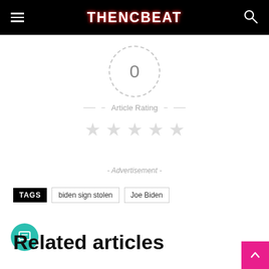THENCBEAT
[Figure (other): Article rating widget showing 0 with dashed circle, dashes on sides, 'Article Rating' text, and 5 empty gray stars]
- Advertisement -
TAGS   biden sign stolen   Joe Biden
Related articles